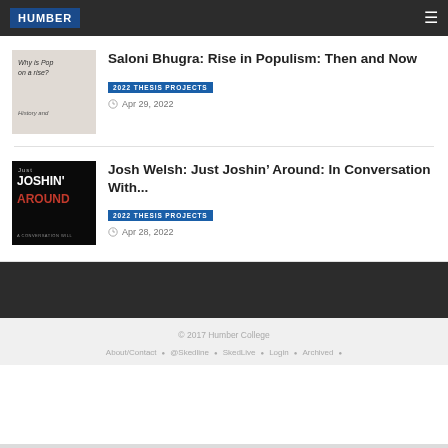HUMBER
Saloni Bhugra: Rise in Populism: Then and Now
2022 THESIS PROJECTS
Apr 29, 2022
Josh Welsh: Just Joshin’ Around: In Conversation With...
2022 THESIS PROJECTS
Apr 28, 2022
© 2017 Humber College
About/Contact • @Skedline • SkedLive • Login • Archived •